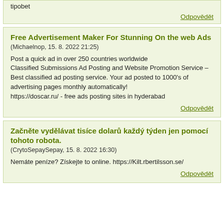tipobet
Odpovědět
Free Advertisement Maker For Stunning On the web Ads
(Michaelnop, 15. 8. 2022 21:25)
Post a quick ad in over 250 countries worldwide
Classified Submissions Ad Posting and Website Promotion Service – Best classified ad posting service. Your ad posted to 1000's of advertising pages monthly automatically!
https://doscar.ru/ - free ads posting sites in hyderabad
Odpovědět
Začněte vydělávat tisíce dolarů každý týden jen pomocí tohoto robota.
(CrytoSepaySepay, 15. 8. 2022 16:30)
Nemáte peníze? Získejte to online. https://Kilt.rbertilsson.se/
Odpovědět